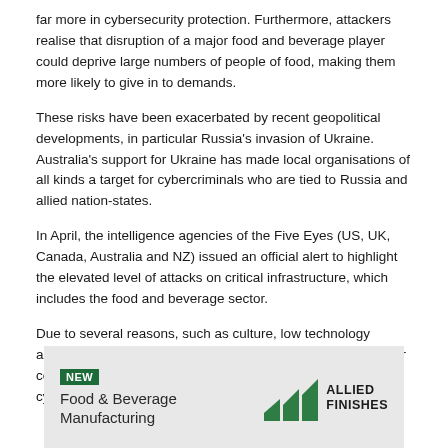far more in cybersecurity protection. Furthermore, attackers realise that disruption of a major food and beverage player could deprive large numbers of people of food, making them more likely to give in to demands.
These risks have been exacerbated by recent geopolitical developments, in particular Russia's invasion of Ukraine. Australia's support for Ukraine has made local organisations of all kinds a target for cybercriminals who are tied to Russia and allied nation-states.
In April, the intelligence agencies of the Five Eyes (US, UK, Canada, Australia and NZ) issued an official alert to highlight the elevated level of attacks on critical infrastructure, which includes the food and beverage sector.
Due to several reasons, such as culture, low technology adoption and resourcing issues, the food and beverage sector continues to lag behind other industries when it comes to cyber risk maturity.
[Figure (other): Advertisement banner for Allied Finishes featuring a 'NEW' badge and text 'Food & Beverage Manufacturing' with the Allied Finishes logo including green geometric shapes.]